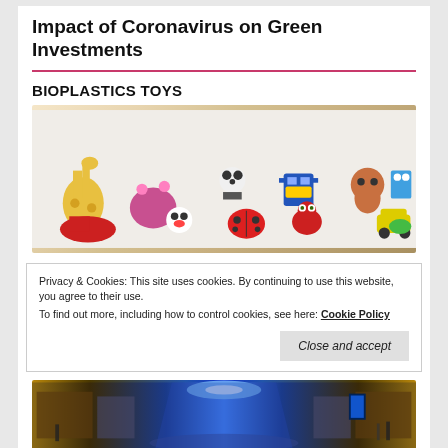Impact of Coronavirus on Green Investments
BIOPLASTICS TOYS
[Figure (photo): Collection of colorful toy figurines including animals, robots, clown, ladybug, and various wind-up toys on a white background]
Privacy & Cookies: This site uses cookies. By continuing to use this website, you agree to their use.
To find out more, including how to control cookies, see here: Cookie Policy
[Figure (photo): Interior of a shopping mall corridor with bright lights, storefronts on both sides, and people walking]